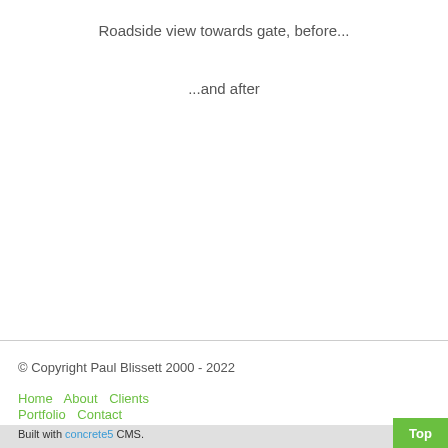Roadside view towards gate, before...
...and after
© Copyright Paul Blissett 2000 - 2022
Home   About   Clients   Portfolio   Contact
Built with concrete5 CMS.
Top